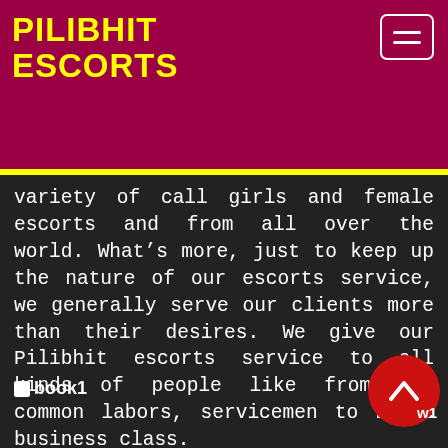PILIBHIT ESCORTS
variety of call girls and female escorts and from all over the world. What’s more, just to keep up the nature of our escorts service, we generally serve our clients more than their desires. We give our Pilibhit escorts service to all kinds of people like from the common labors, servicemen to Elite business class.
book1
To The Clients At The